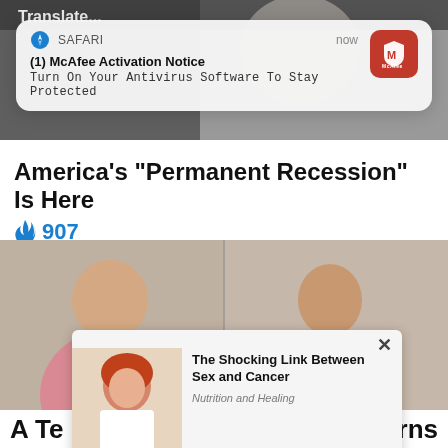[Figure (screenshot): Background photo showing blurred faces/shoulders at the top of a webpage]
[Figure (screenshot): iOS Safari push notification overlay: '(1) McAfee Activation Notice - Turn On Your Antivirus Software To Stay Protected' with McAfee red icon]
America's "Permanent Recession" Is Here
🔥 907
[Figure (photo): Two side-by-side photos of the same woman, one heavier and one slimmer, wearing pink floral outfit]
[Figure (screenshot): Popup ad with photo of red-haired woman in lab coat: 'The Shocking Link Between Sex and Cancer' - Nutrition and Healing]
A Te
rns